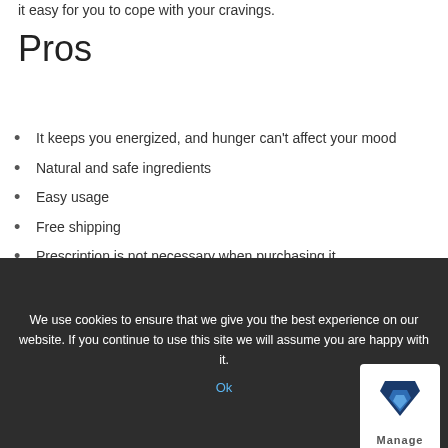it easy for you to cope with your cravings.
Pros
It keeps you energized, and hunger can't affect your mood
Natural and safe ingredients
Easy usage
Free shipping
Prescription is not necessary when purchasing it
No side effects
Cons
We use cookies to ensure that we give you the best experience on our website. If you continue to use this site we will assume you are happy with it.
Ok
It might affect sleeping quality when consumed